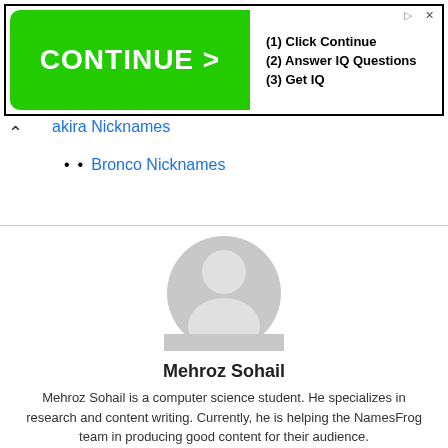[Figure (screenshot): Advertisement banner with green CONTINUE > button on left and text '(1) Click Continue (2) Answer IQ Questions (3) Get IQ' on right]
Akira Nicknames
Bronco Nicknames
[Figure (illustration): Generic grey user avatar/profile picture placeholder]
Mehroz Sohail
Mehroz Sohail is a computer science student. He specializes in research and content writing. Currently, he is helping the NamesFrog team in producing good content for their audience.